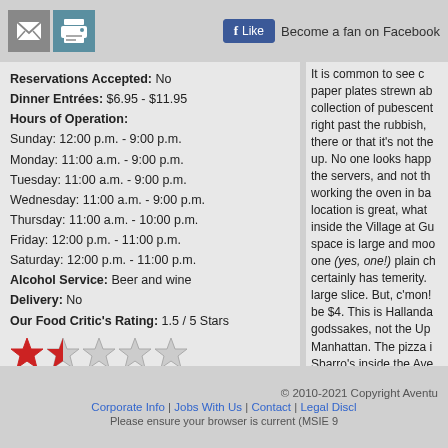Become a fan on Facebook
Reservations Accepted: No
Dinner Entrées: $6.95 - $11.95
Hours of Operation:
Sunday: 12:00 p.m. - 9:00 p.m.
Monday: 11:00 a.m. - 9:00 p.m.
Tuesday: 11:00 a.m. - 9:00 p.m.
Wednesday: 11:00 a.m. - 9:00 p.m.
Thursday: 11:00 a.m. - 10:00 p.m.
Friday: 12:00 p.m. - 11:00 p.m.
Saturday: 12:00 p.m. - 11:00 p.m.
Alcohol Service: Beer and wine
Delivery: No
Our Food Critic's Rating: 1.5 / 5 Stars
[Figure (other): Star rating: 1.5 out of 5 stars, shown as two red stars and three gray stars]
It is common to see paper plates strewn about, collection of pubescent right past the rubbish, there or that it's not the up. No one looks happy the servers, and not the working the oven in the location is great, what inside the Village at Gu space is large and modern one (yes, one!) plain ch certainly has temerity. large slice. But, c'mon! be $4. This is Hallandale godssakes, not the Upper Manhattan. The pizza is Sbarro's inside the Ave about 10 times as tasty at Pizza Roma or Papa
- Written by Jonathan
February 1, 2011
© 2010-2021 Copyright Aventu
Corporate Info | Jobs With Us | Contact | Legal Discl
Please ensure your browser is current (MSIE 9